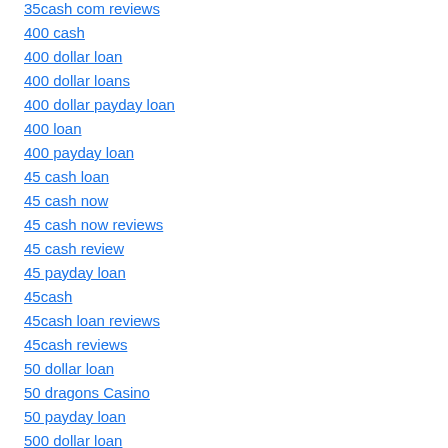35cash com reviews
400 cash
400 dollar loan
400 dollar loans
400 dollar payday loan
400 loan
400 payday loan
45 cash loan
45 cash now
45 cash now reviews
45 cash review
45 payday loan
45cash
45cash loan reviews
45cash reviews
50 dollar loan
50 dragons Casino
50 payday loan
500 dollar loan